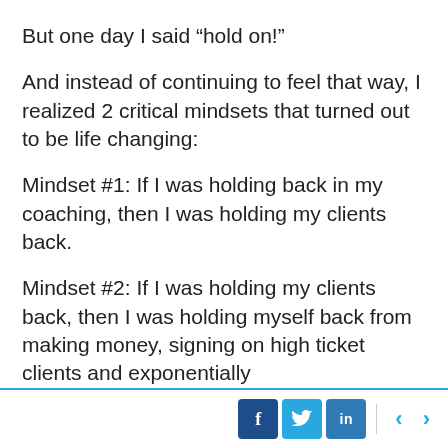But one day I said “hold on!”
And instead of continuing to feel that way, I realized 2 critical mindsets that turned out to be life changing:
Mindset #1: If I was holding back in my coaching, then I was holding my clients back.
Mindset #2: If I was holding my clients back, then I was holding myself back from making money, signing on high ticket clients and exponentially